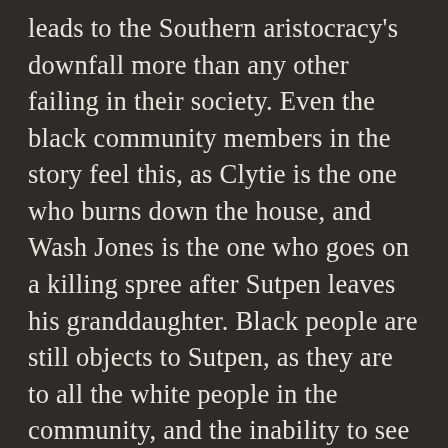leads to the Southern aristocracy's downfall more than any other failing in their society. Even the black community members in the story feel this, as Clytie is the one who burns down the house, and Wash Jones is the one who goes on a killing spree after Sutpen leaves his granddaughter. Black people are still objects to Sutpen, as they are to all the white people in the community, and the inability to see them as human beings leads not only to their downfall, but to the destruction of the black people's humanity: constantly treated as animals or subhuman, they can only tolerate the South for so long before they snap and destroy themselves or are destroyed by the white community surrounding them.